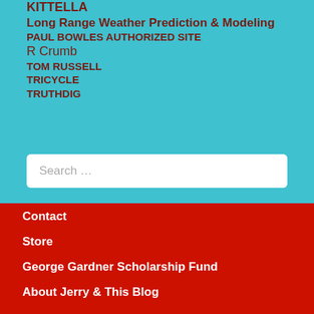KITTELLA
Long Range Weather Prediction & Modeling
PAUL BOWLES AUTHORIZED SITE
R Crumb
TOM RUSSELL
TRICYCLE
TRUTHDIG
Search …
Contact
Store
George Gardner Scholarship Fund
About Jerry & This Blog